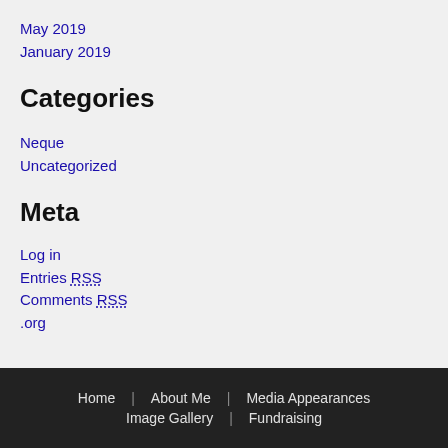May 2019
January 2019
Categories
Neque
Uncategorized
Meta
Log in
Entries RSS
Comments RSS
.org
Home   About Me   Media Appearances   Image Gallery   Fundraising